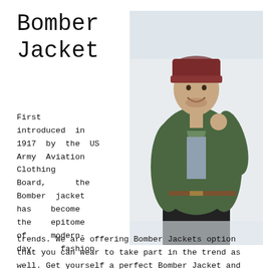Bomber Jacket
[Figure (photo): A smiling man wearing a green bomber jacket and dark red beanie hat, standing outdoors in a snowy setting.]
First introduced in 1917 by the US Army Aviation Clothing Board, the Bomber jacket has become the epitome of modern-day fashion trends. We are offering Bomber Jackets option that you can wear to take part in the trend as well. Get yourself a perfect Bomber Jacket and